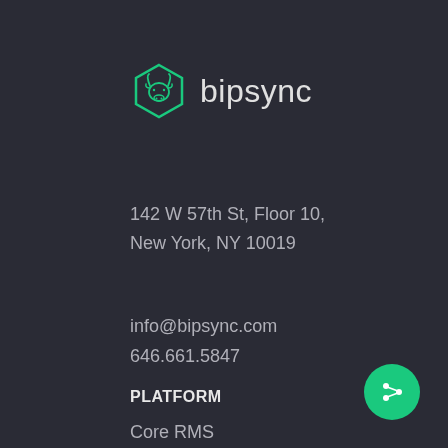[Figure (logo): Bipsync logo: green hexagon with bull head icon and text 'bipsync']
142 W 57th St, Floor 10,
New York, NY 10019
info@bipsync.com
646.661.5847
PLATFORM
Core RMS
Process Management
Compliance